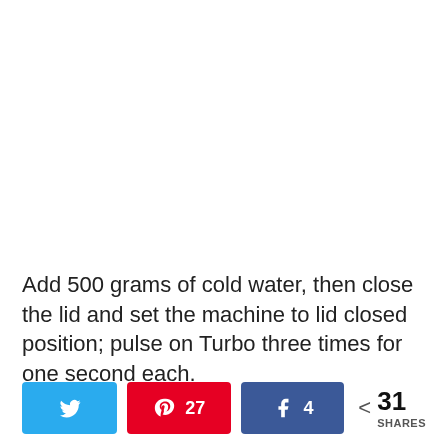Add 500 grams of cold water, then close the lid and set the machine to lid closed position; pulse on Turbo three times for one second each.
[Figure (infographic): Social share buttons bar with Twitter, Pinterest (27 saves), Facebook (4 shares), and total share count of 31 SHARES]